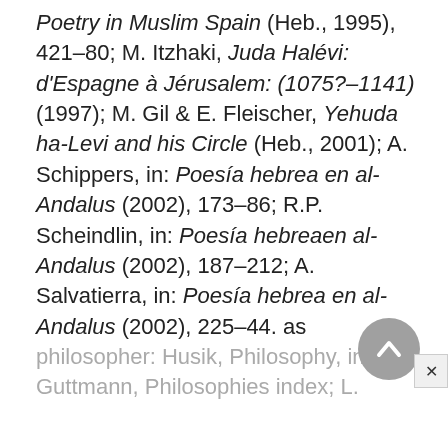Poetry in Muslim Spain (Heb., 1995), 421–80; M. Itzhaki, Juda Halévi: d'Espagne à Jérusalem: (1075?–1141) (1997); M. Gil & E. Fleischer, Yehuda ha-Levi and his Circle (Heb., 2001); A. Schippers, in: Poesía hebrea en al-Andalus (2002), 173–86; R.P. Scheindlin, in: Poesía hebreaen al-Andalus (2002), 187–212; A. Salvatierra, in: Poesía hebrea en al-Andalus (2002), 225–44. as philosopher: Husik, Philosophy, index; Guttmann, Philosophies index; L.